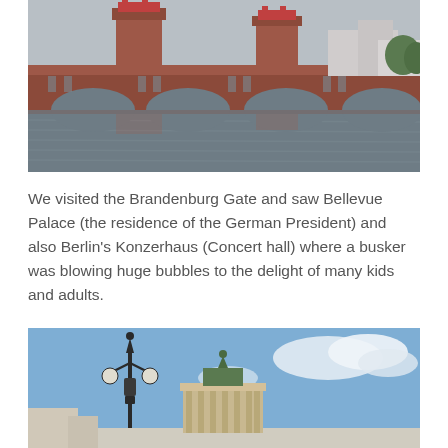[Figure (photo): Photo of a red brick bridge with towers over a river in Berlin (Oberbaumbrücke), overcast sky, water reflections visible]
We visited the Brandenburg Gate and saw Bellevue Palace (the residence of the German President) and also Berlin's Konzerhaus (Concert hall) where a busker was blowing huge bubbles to the delight of many kids and adults.
[Figure (photo): Photo of the Brandenburg Gate and an ornate street lamp in the foreground against a blue sky with light clouds]